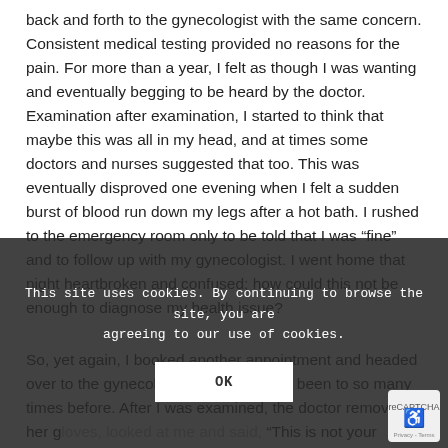back and forth to the gynecologist with the same concern. Consistent medical testing provided no reasons for the pain. For more than a year, I felt as though I was wanting and eventually begging to be heard by the doctor. Examination after examination, I started to think that maybe this was all in my head, and at times some doctors and nurses suggested that too. This was eventually disproved one evening when I felt a sudden burst of blood run down my legs after a hot bath. I rushed to the emergency room only to be told that I was “fine” and to follow up with my gynecologist. I went home that night heartbroken and confused; how could this not be enough to diagnose my health issue?
So, yet again, I booked another appointment and headed over to the gynecologist’s office that I’d been to so many times before. After I was examined, the doctor removed her gloves, looked at me and said, “This is not your vagina anymore, this is your rectum
This site uses cookies. By continuing to browse the site, you are agreeing to our use of cookies.